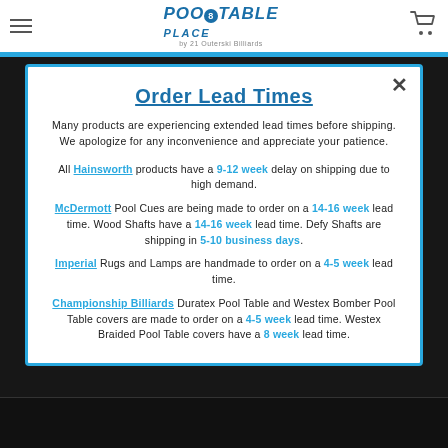Pool Table Place — by 21 Outerski Billiards
Order Lead Times
Many products are experiencing extended lead times before shipping. We apologize for any inconvenience and appreciate your patience.
All Hainsworth products have a 9-12 week delay on shipping due to high demand.
McDermott Pool Cues are being made to order on a 14-16 week lead time. Wood Shafts have a 14-16 week lead time. Defy Shafts are shipping in 5-10 business days.
Imperial Rugs and Lamps are handmade to order on a 4-5 week lead time.
Championship Billiards Duratex Pool Table and Westex Bomber Pool Table covers are made to order on a 4-5 week lead time. Westex Braided Pool Table covers have a 8 week lead time.